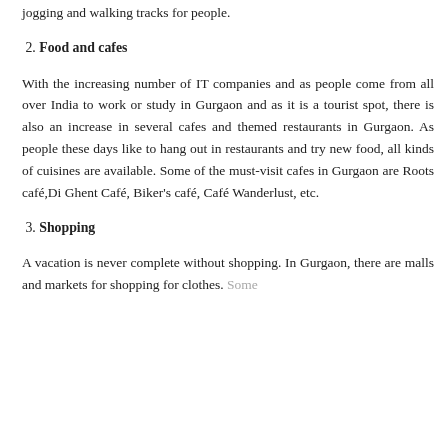jogging and walking tracks for people.
2. Food and cafes
With the increasing number of IT companies and as people come from all over India to work or study in Gurgaon and as it is a tourist spot, there is also an increase in several cafes and themed restaurants in Gurgaon. As people these days like to hang out in restaurants and try new food, all kinds of cuisines are available. Some of the must-visit cafes in Gurgaon are Roots café,Di Ghent Café, Biker's café, Café Wanderlust, etc.
3. Shopping
A vacation is never complete without shopping. In Gurgaon, there are malls and markets for shopping for clothes. Some